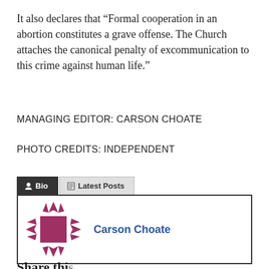It also declares that “Formal cooperation in an abortion constitutes a grave offense. The Church attaches the canonical penalty of excommunication to this crime against human life.”
MANAGING EDITOR: CARSON CHOATE
PHOTO CREDITS: INDEPENDENT
[Figure (other): Author bio tab widget with 'Bio' tab (dark background) and 'Latest Posts' tab (light background), followed by a card showing a decorative avatar icon and the name 'Carson Choate' in blue]
Share this